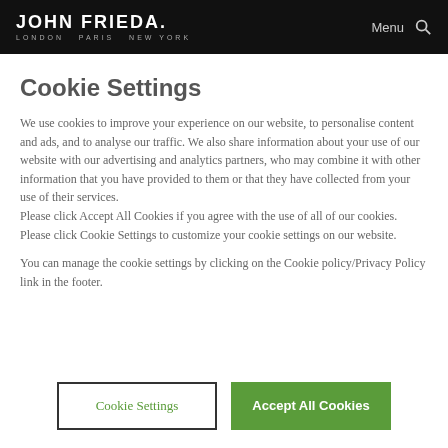JOHN FRIEDA. LONDON PARIS NEW YORK | Menu
Cookie Settings
We use cookies to improve your experience on our website, to personalise content and ads, and to analyse our traffic. We also share information about your use of our website with our advertising and analytics partners, who may combine it with other information that you have provided to them or that they have collected from your use of their services.
Please click Accept All Cookies if you agree with the use of all of our cookies.
Please click Cookie Settings to customize your cookie settings on our website.
You can manage the cookie settings by clicking on the Cookie policy/Privacy Policy link in the footer.
Cookie Settings | Accept All Cookies